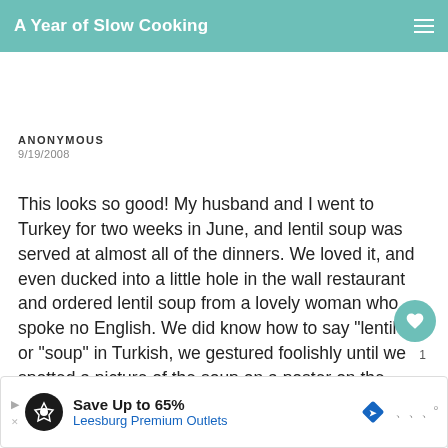A Year of Slow Cooking
ANONYMOUS
9/19/2008
This looks so good! My husband and I went to Turkey for two weeks in June, and lentil soup was served at almost all of the dinners. We loved it, and even ducked into a little hole in the wall restaurant and ordered lentil soup from a lovely woman who spoke no English. We did know how to say "lentil" or "soup" in Turkish, we gestured foolishly until we spotted a picture of the soup on a poster on the wall! I recreate the Turkish version with some success. I'm anxious to try yours.
[Figure (other): Advertisement banner: Save Up to 65% Leesburg Premium Outlets with navigation arrows, logo, and brand icons]